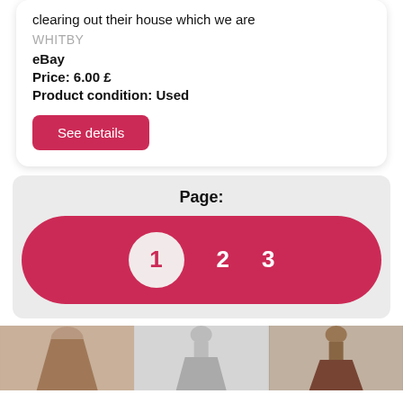clearing out their house which we are
WHITBY
eBay
Price: 6.00 £
Product condition: Used
See details
Page:
[Figure (infographic): Pagination bar with page numbers 1 (active/selected in white circle), 2, and 3 on a crimson/pink rounded rectangle background]
[Figure (photo): Three product thumbnail images showing skirts/fashion items]